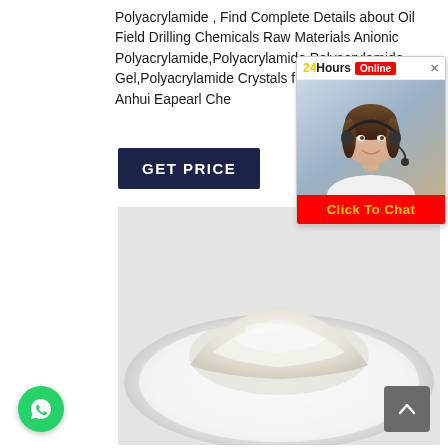Polyacrylamide , Find Complete Details about Oil Field Drilling Chemicals Raw Materials Anionic Polyacrylamide,Polyacrylamide,Polyacrylamide Gel,Polyacrylamide Crystals from Manufacturer-Anhui Eapearl Che...
[Figure (screenshot): GET PRICE button — dark navy background with white bold text]
[Figure (infographic): 24Hours Online chat widget overlay with a customer service representative wearing a headset, red Click To Chat button at bottom]
[Figure (photo): White powder (polyacrylamide) piled on a round white plate/dish on a light grey background]